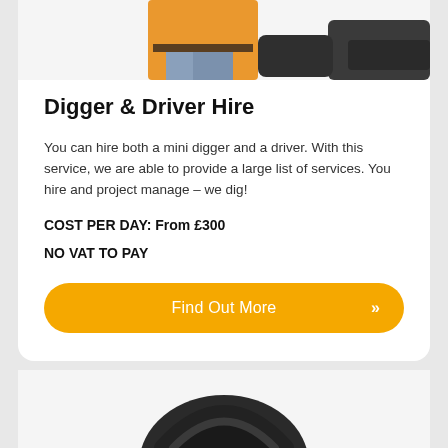[Figure (photo): Partial image of a person in orange hi-vis jacket and jeans, next to what appears to be construction equipment (mini digger), cropped at top of card]
Digger & Driver Hire
You can hire both a mini digger and a driver. With this service, we are able to provide a large list of services. You hire and project manage – we dig!
COST PER DAY: From £300
NO VAT TO PAY
Find Out More »
[Figure (photo): Partial image at bottom of page showing what appears to be black construction/digger equipment, cropped at the bottom edge of the page]